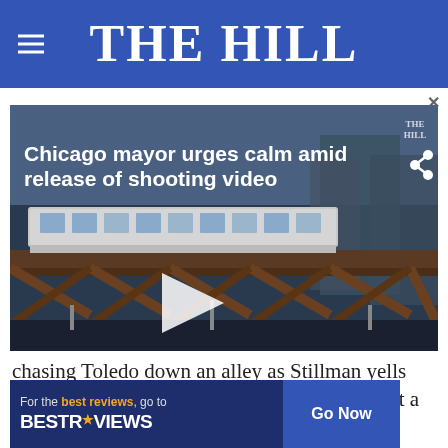THE HILL
[Figure (screenshot): Video thumbnail showing Chicago elevated train on bridge at dusk, with overlay text 'Chicago mayor urges calm amid release of shooting video' and a play button]
chasing Toledo down an alley as Stillman yells "stop right f—— now" before Toledo s[x]s at a large slowl s
[Figure (other): BestReviews advertisement banner with text 'For the best reviews, go to BESTREVIEWS' and 'Go Now' button]